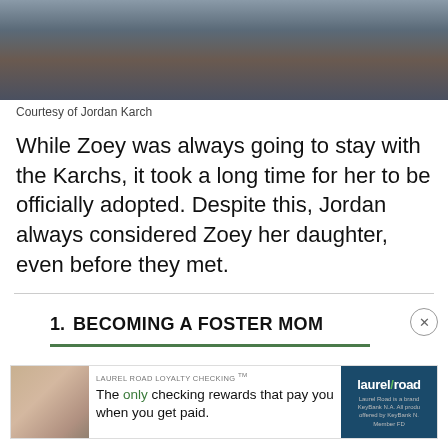[Figure (photo): Family photo, partially cropped at top, showing multiple people seated together]
Courtesy of Jordan Karch
While Zoey was always going to stay with the Karchs, it took a long time for her to be officially adopted. Despite this, Jordan always considered Zoey her daughter, even before they met.
1.  BECOMING A FOSTER MOM
[Figure (infographic): Advertisement for Laurel Road Loyalty Checking. Shows a woman with glasses, text: LAUREL ROAD LOYALTY CHECKING TM. The only checking rewards that pay you when you get paid. Laurel Road logo on right side with fine print.]